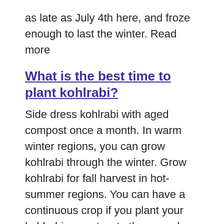as late as July 4th here, and froze enough to last the winter. Read more
What is the best time to plant kohlrabi?
Side dress kohlrabi with aged compost once a month. In warm winter regions, you can grow kohlrabi through the winter. Grow kohlrabi for fall harvest in hot-summer regions. You can have a continuous crop if you plant your kohlrabi every two to three weeks. When Read more
Is it too late to plant chives?
Protect chives from direct sun in hot climates with shade cloth. Garlic chives can be pulled